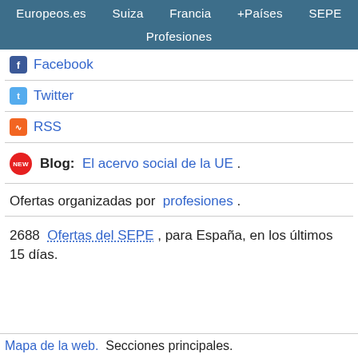Europeos.es  Suiza  Francia  +Países  SEPE  Profesiones
Facebook
Twitter
RSS
Blog: El acervo social de la UE .
Ofertas organizadas por profesiones .
2688 Ofertas del SEPE , para España, en los últimos 15 días.
Mapa de la web.  Secciones principales.